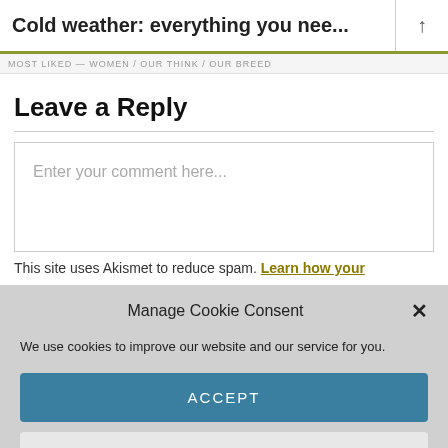Cold weather: everything you nee...
Leave a Reply
Enter your comment here...
This site uses Akismet to reduce spam. Learn how your
Manage Cookie Consent
We use cookies to improve our website and our service for you.
ACCEPT
DENY